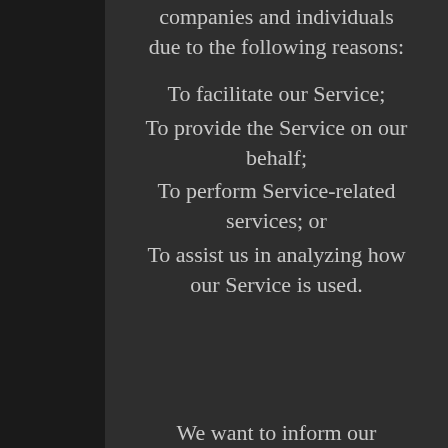companies and individuals due to the following reasons:
To facilitate our Service;
To provide the Service on our behalf;
To perform Service-related services; or
To assist us in analyzing how our Service is used.
We want to inform our